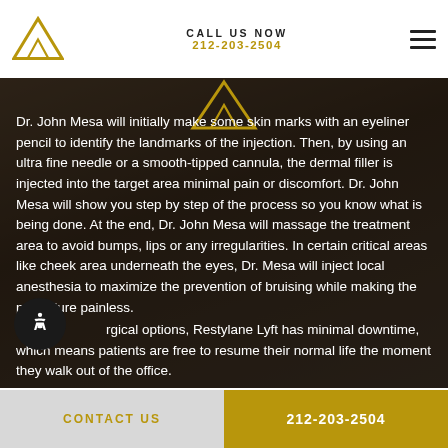CALL US NOW 212-203-2504
[Figure (logo): Triangle mountain logo (gold/dark) in header and background area]
Dr. John Mesa will initially make some skin marks with an eyeliner pencil to identify the landmarks of the injection. Then, by using an ultra fine needle or a smooth-tipped cannula, the dermal filler is injected into the target area minimal pain or discomfort. Dr. John Mesa will show you step by step of the process so you know what is being done. At the end, Dr. John Mesa will massage the treatment area to avoid bumps, lips or any irregularities. In certain critical areas like cheek area underneath the eyes, Dr. Mesa will inject local anesthesia to maximize the prevention of bruising while making the procedure painless.
…rgical options, Restylane Lyft has minimal downtime, which means patients are free to resume their normal life the moment they walk out of the office.
CONTACT US    212-203-2504